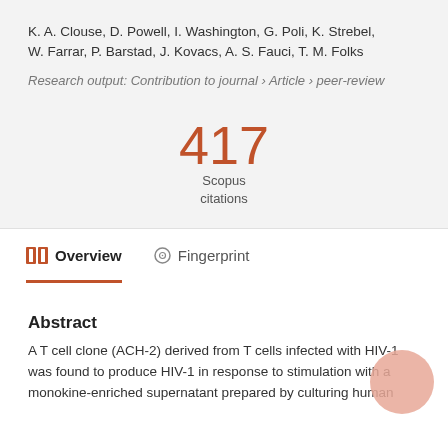K. A. Clouse, D. Powell, I. Washington, G. Poli, K. Strebel, W. Farrar, P. Barstad, J. Kovacs, A. S. Fauci, T. M. Folks
Research output: Contribution to journal › Article › peer-review
417 Scopus citations
Overview
Fingerprint
Abstract
A T cell clone (ACH-2) derived from T cells infected with HIV-1 was found to produce HIV-1 in response to stimulation with a monokine-enriched supernatant prepared by culturing human